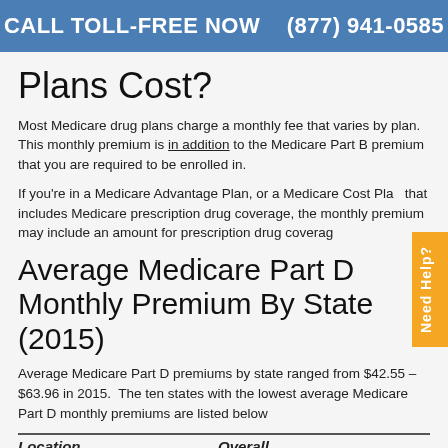CALL TOLL-FREE NOW   (877) 941-0585
Plans Cost?
Most Medicare drug plans charge a monthly fee that varies by plan. This monthly premium is in addition to the Medicare Part B premium that you are required to be enrolled in.
If you're in a Medicare Advantage Plan, or a Medicare Cost Plan that includes Medicare prescription drug coverage, the monthly premium may include an amount for prescription drug coverage.
Average Medicare Part D Monthly Premium By State (2015)
Average Medicare Part D premiums by state ranged from $42.55 – $63.96 in 2015.  The ten states with the lowest average Medicare Part D monthly premiums are listed below
| Location | Overall |
| --- | --- |